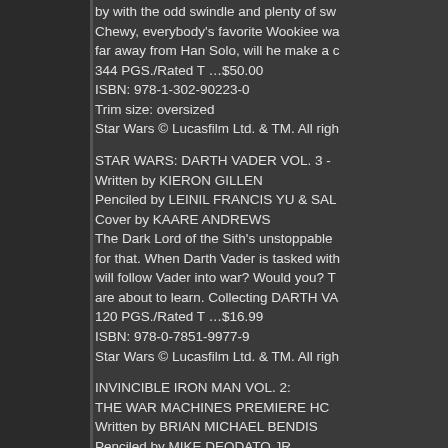by with the odd swindle and plenty of sw... Chewy, everybody's favorite Wookiee wa... far away from Han Solo, will he make a c... 344 PGS./Rated T …$50.00 ISBN: 978-1-302-90223-0 Trim size: oversized Star Wars © Lucasfilm Ltd. & TM. All righ...
STAR WARS: DARTH VADER VOL. 3 - Written by KIERON GILLEN Penciled by LEINIL FRANCIS YU & SAL... Cover by KAARE ANDREWS The Dark Lord of the Sith's unstoppable... for that. When Darth Vader is tasked with... will follow Vader into war? Would you? T... are about to learn. Collecting DARTH VA... 120 PGS./Rated T …$16.99 ISBN: 978-0-7851-9977-9 Star Wars © Lucasfilm Ltd. & TM. All righ...
INVINCIBLE IRON MAN VOL. 2: THE WAR MACHINES PREMIERE HC Written by BRIAN MICHAEL BENDIS Penciled by MIKE DEODATO JR. Cover by MIKE DEODATO JR. Something is rotten in the house of Stark...